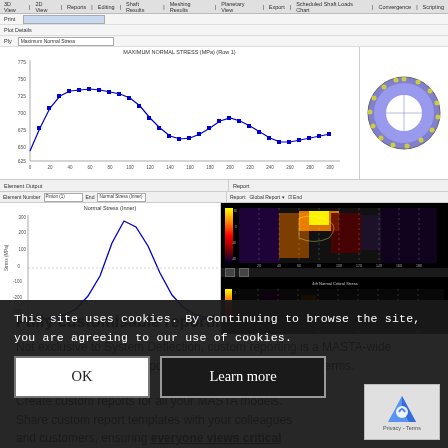[Figure (screenshot): Screenshot of a mechanical engineering simulation software (MASTA) showing multiple analysis panels: a top line chart of Maximum Normal Stress vs angle, a ring/donut gear visualization, a lower-left Normal Stress curve chart, and lower-right heat map stress contour plots on black backgrounds.]
Fully customisable reporting
Not exclusive to System Deflection, custom reporting is a MASTA-wide capability, giving you the power to view data on your own terms.
Create custom reports for all your MASTA models. Share custom report templates with your colleagues and customers, ensuring everyone views critical data in a concise and user-friendly way.
This site uses cookies. By continuing to browse the site, you are agreeing to our use of cookies.